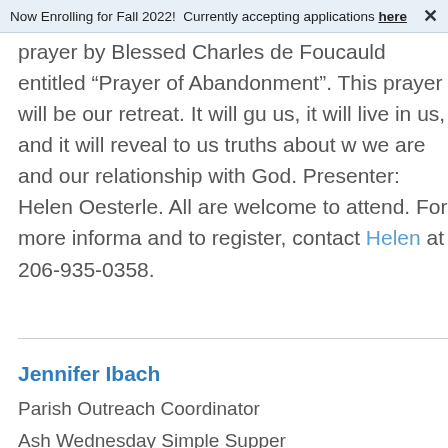Now Enrolling for Fall 2022!  Currently accepting applications here ×
prayer by Blessed Charles de Foucauld entitled "Prayer of Abandonment". This prayer will be our retreat. It will guide us, it will live in us, and it will reveal to us truths about who we are and our relationship with God. Presenter: Helen Oesterle. All are welcome to attend. For more information and to register, contact Helen at 206-935-0358.
Jennifer Ibach
Parish Outreach Coordinator
Ash Wednesday Simple Supper